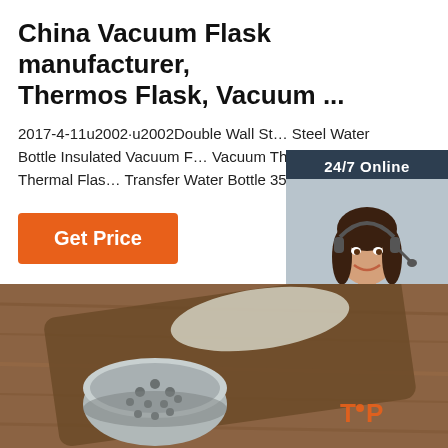China Vacuum Flask manufacturer, Thermos Flask, Vacuum ...
2017-4-11u2002·u2002Double Wall Stainless Steel Water Bottle Insulated Vacuum Flask Vacuum Thermos Metal Thermal Flask Heat Transfer Water Bottle 350ml ...
[Figure (screenshot): Orange 'Get Price' button]
[Figure (screenshot): Chat widget with '24/7 Online' header, photo of woman with headset, 'Click here for free chat!' text and orange QUOTATION button]
[Figure (photo): Photo of a wooden cutting board with a stainless steel strainer/colander on a wooden table surface, with TOP logo watermark in orange]